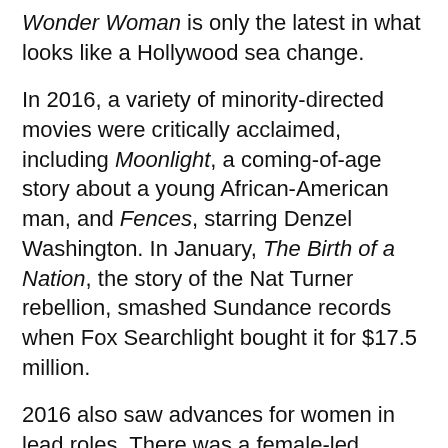Wonder Woman is only the latest in what looks like a Hollywood sea change.
In 2016, a variety of minority-directed movies were critically acclaimed, including Moonlight, a coming-of-age story about a young African-American man, and Fences, starring Denzel Washington. In January, The Birth of a Nation, the story of the Nat Turner rebellion, smashed Sundance records when Fox Searchlight bought it for $17.5 million.
2016 also saw advances for women in lead roles. There was a female-led Ghostbusters reboot, and women will also front the upcoming Ocean's Eleven spin-off, while 2019's Captain Marvel with Brie Larson will ensure that more female leads are added the superhero blockbuster genre.
Statistical analysis blog FiveThirtyEight has found that films that pass the Bechdel test